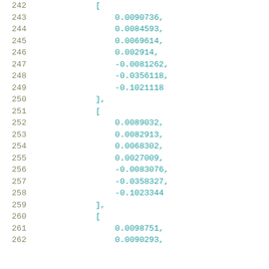Code listing lines 242-262 showing numeric array data with line numbers and teal/cyan colored code values